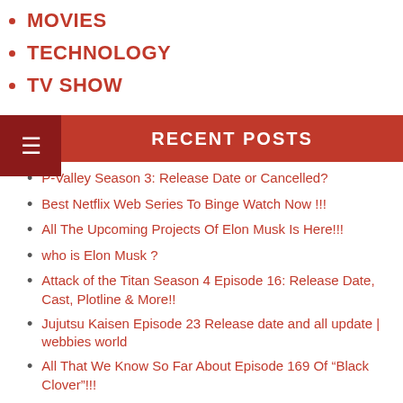MOVIES
TECHNOLOGY
TV SHOW
RECENT POSTS
P-Valley Season 3: Release Date or Cancelled?
Best Netflix Web Series To Binge Watch Now !!!
All The Upcoming Projects Of Elon Musk Is Here!!!
who is Elon Musk ?
Attack of the Titan Season 4 Episode 16: Release Date, Cast, Plotline & More!!
Jujutsu Kaisen Episode 23 Release date and all update | webbies world
All That We Know So Far About Episode 169 Of “Black Clover”!!!
Horimiya Episode 11 Release Date & All That We Know So Far!!!